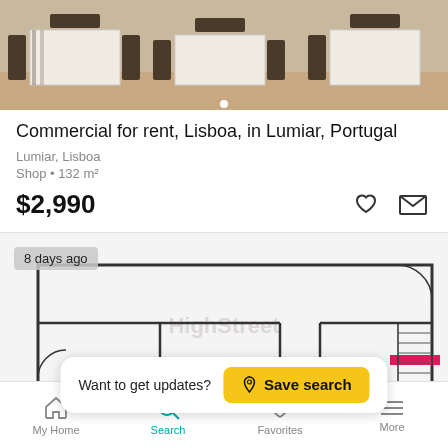[Figure (photo): Restaurant interior with white-tablecloth tables and wooden chairs]
Commercial for rent, Lisboa, in Lumiar, Portugal
Lumiar, Lisboa
Shop • 132 m²
$2,990
[Figure (engineering-diagram): Floor plan of the commercial property, with '8 days ago' badge and 'Want to get updates? Save search' overlay]
My Home   Search   Favorites   More